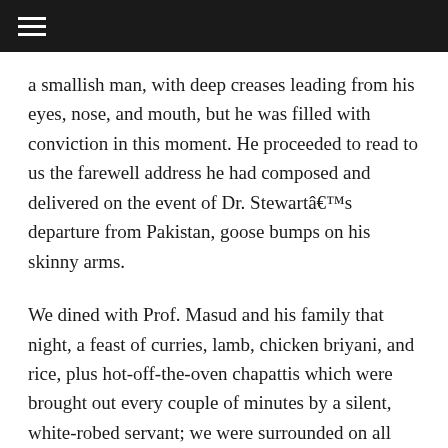a smallish man, with deep creases leading from his eyes, nose, and mouth, but he was filled with conviction in this moment. He proceeded to read to us the farewell address he had composed and delivered on the event of Dr. Stewartâ€™s departure from Pakistan, goose bumps on his skinny arms.
We dined with Prof. Masud and his family that night, a feast of curries, lamb, chicken briyani, and rice, plus hot-off-the-oven chapattis which were brought out every couple of minutes by a silent, white-robed servant; we were surrounded on all sides by long shelves of Urdu and English books (the Quran, Marx and Engel, Tolstoy) and a curious assortment of objects/antago...